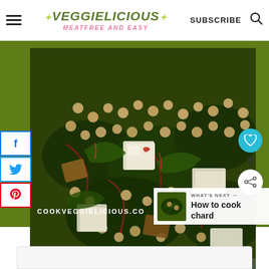VEGGIELICIOUS MEATFREE AND EASY | SUBSCRIBE
[Figure (photo): Close-up of a pan of cooked Swiss chard with chickpeas and tofu cubes]
COOKVEGGIELICIOUS.CO
WHAT'S NEXT → How to cook chard